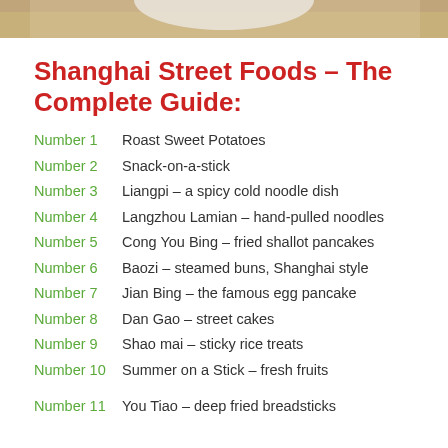[Figure (photo): Top portion of a photo showing a wooden surface with a white bowl or dish, cropped at the bottom of the strip]
Shanghai Street Foods – The Complete Guide:
Number 1   Roast Sweet Potatoes
Number 2   Snack-on-a-stick
Number 3   Liangpi – a spicy cold noodle dish
Number 4   Langzhou Lamian – hand-pulled noodles
Number 5   Cong You Bing – fried shallot pancakes
Number 6   Baozi – steamed buns, Shanghai style
Number 7   Jian Bing – the famous egg pancake
Number 8   Dan Gao – street cakes
Number 9   Shao mai – sticky rice treats
Number 10  Summer on a Stick – fresh fruits
Number 11  You Tiao – deep fried breadsticks